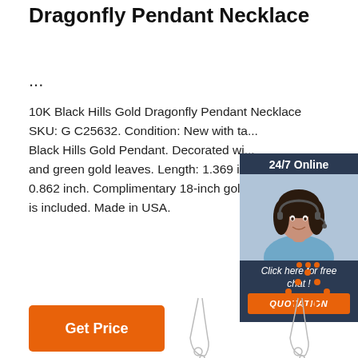Dragonfly Pendant Necklace
...
10K Black Hills Gold Dragonfly Pendant Necklace SKU: G C25632. Condition: New with ta... Black Hills Gold Pendant. Decorated wi... and green gold leaves. Length: 1.369 in... 0.862 inch. Complimentary 18-inch gold... is included. Made in USA.
[Figure (infographic): Chat widget with 24/7 Online header, photo of woman with headset, Click here for free chat! text, and QUOTATION button]
[Figure (other): Orange Get Price button]
[Figure (other): TOP scroll-to-top button with orange dots and text]
[Figure (photo): Two necklace product images at bottom of page]